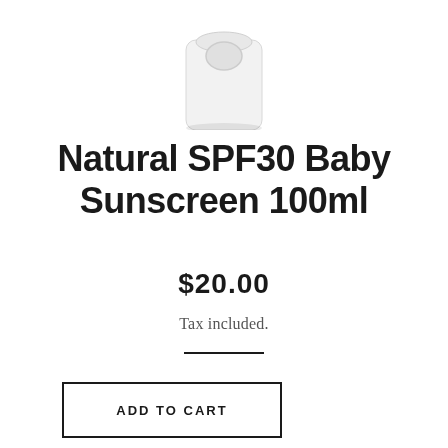[Figure (photo): Partial view of a white lotion/sunscreen bottle with a round cap, cropped at top of page]
Natural SPF30 Baby Sunscreen 100ml
$20.00
Tax included.
ADD TO CART